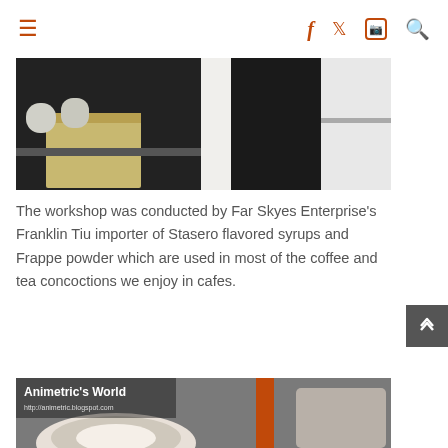☰  𝗳  𝘁  📷  🔍
[Figure (photo): Workshop photo showing store shelves with products and person in dark clothing]
The workshop was conducted by Far Skyes Enterprise's Franklin Tiu importer of Stasero flavored syrups and Frappe powder which are used in most of the coffee and tea concoctions we enjoy in cafes.
[Figure (photo): Photo with Animetric's World watermark showing coffee/tea drink, URL: http://animetric.blogspot.com]